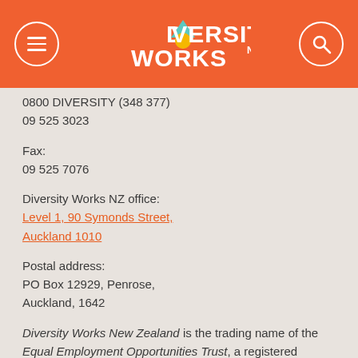DIVERSITY WORKS NZ
0800 DIVERSITY (348 377)
09 525 3023
Fax:
09 525 7076
Diversity Works NZ office:
Level 1, 90 Symonds Street,
Auckland 1010
Postal address:
PO Box 12929, Penrose,
Auckland, 1642
Diversity Works New Zealand is the trading name of the Equal Employment Opportunities Trust, a registered charity with the New Zealand Charities Commission (CC22630).